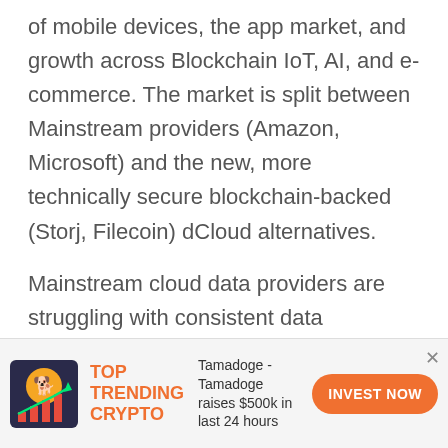of mobile devices, the app market, and growth across Blockchain IoT, AI, and e-commerce. The market is split between Mainstream providers (Amazon, Microsoft) and the new, more technically secure blockchain-backed (Storj, Filecoin) dCloud alternatives.
Mainstream cloud data providers are struggling with consistent data breaches, exposing a whole range of sensitive information (logins, passwords, IP addresses), while some blockchain alternatives face problems with token inflation.
[Figure (infographic): Advertisement banner: Top Trending Crypto - Tamadoge raises $500k in last 24 hours. Orange INVEST NOW button. Small icon showing a dog coin with rising bar chart.]